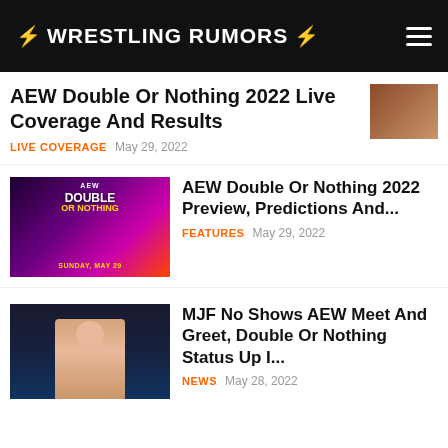WRESTLING RUMORS
AEW Double Or Nothing 2022 Live Coverage And Results
LIVE COVERAGE   May 29, 2022
[Figure (photo): AEW Double Or Nothing 2022 promotional image with wrestlers, Sunday May 29]
AEW Double Or Nothing 2022 Preview, Predictions And...
FEATURES   May 29, 2022
[Figure (photo): MJF wrestler raising hand at AEW event]
MJF No Shows AEW Meet And Greet, Double Or Nothing Status Up I...
NEWS   May 28, 2022